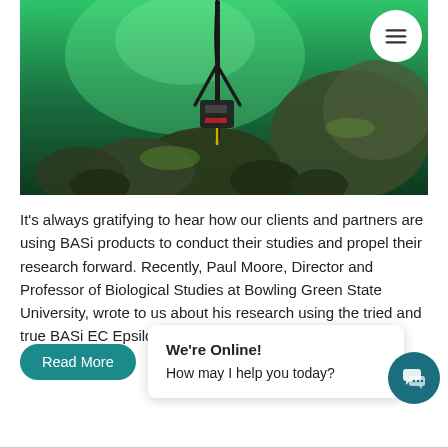[Figure (photo): Underwater photo showing scientific equipment (sensor/probe on a tripod stand) submerged among green-lit rocks with algae. Green-tinted water with boulders in background.]
It's always gratifying to hear how our clients and partners are using BASi products to conduct their studies and propel their research forward. Recently, Paul Moore, Director and Professor of Biological Studies at Bowling Green State University, wrote to us about his research using the tried and true BASi EC Epsilon electrochemical analyzer.
Read More
We're Online!
How may I help you today?